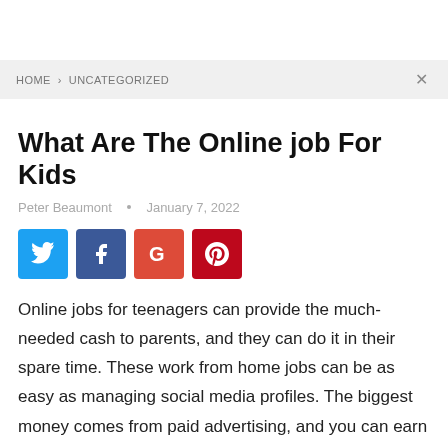HOME > UNCATEGORIZED
What Are The Online job For Kids
Peter Beaumont  •  January 7, 2022
[Figure (other): Social sharing buttons: Twitter (blue), Facebook (dark blue), Google+ (red-orange), Pinterest (dark red)]
Online jobs for teenagers can provide the much-needed cash to parents, and they can do it in their spare time. These work from home jobs can be as easy as managing social media profiles. The biggest money comes from paid advertising, and you can earn a premium wage by creating new campaigns